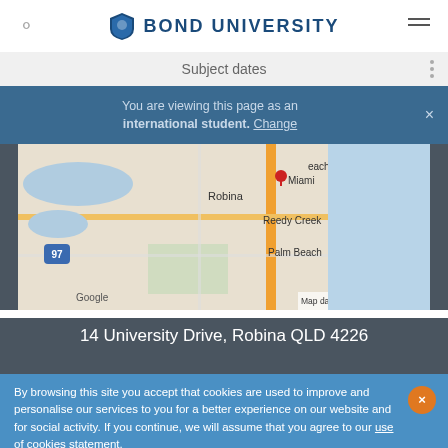BOND UNIVERSITY
Subject dates
You are viewing this page as an international student. Change
[Figure (map): Google Maps screenshot showing Robina, Miami, Reedy Creek, Palm Beach area in Queensland, Australia. Map data ©2015 Google]
14 University Drive, Robina QLD 4226
By browsing this site you accept that cookies are used to improve and personalise our services to you for a better experience on our website and for social activity. If you continue, we will assume that you agree to our use of cookies statement.